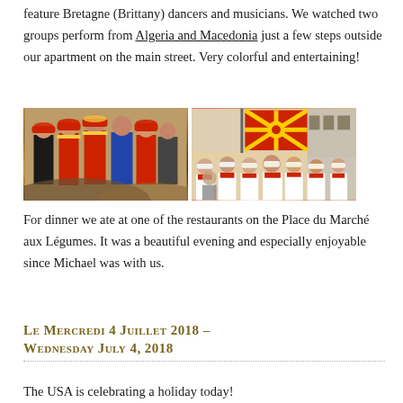feature Bretagne (Brittany) dancers and musicians. We watched two groups perform from Algeria and Macedonia just a few steps outside our apartment on the main street. Very colorful and entertaining!
[Figure (photo): Two photos side by side: left photo shows performers in red and yellow traditional costumes with red fez hats; right photo shows a group with a Macedonian flag (red with yellow sun) and performers in white and red traditional costumes.]
For dinner we ate at one of the restaurants on the Place du Marché aux Légumes. It was a beautiful evening and especially enjoyable since Michael was with us.
Le Mercredi 4 Juillet 2018 – Wednesday July 4, 2018
The USA is celebrating a holiday today!